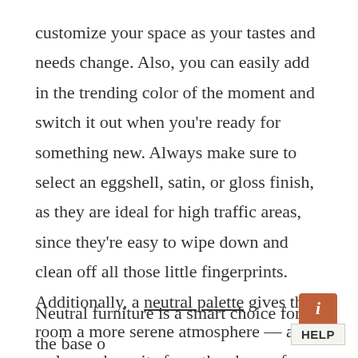customize your space as your tastes and needs change. Also, you can easily add in the trending color of the moment and switch it out when you're ready for something new. Always make sure to select an eggshell, satin, or gloss finish, as they are ideal for high traffic areas, since they're easy to wipe down and clean off all those little fingerprints. Additionally, a neutral palette gives the room a more serene atmosphere — a welcomed respite from the chaos of family life. However, that doesn't mean you can't add some fun pops of color!
Neutral furniture is a smart choice for the base o